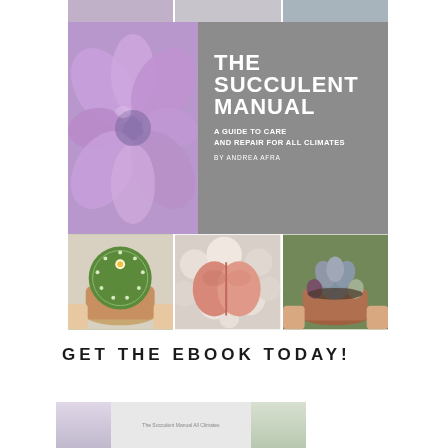[Figure (illustration): Book cover for 'The Succulent Manual: A Guide to Care and Repair for All Climates' by Andrea Afra. Collage of succulent plant photos: top strip of small images, left half shows close-up purple succulent, right half gray panel with white title text, bottom strip shows three photos of succulents in pots.]
GET THE EBOOK TODAY!
[Figure (photo): Preview thumbnail of the ebook showing the book cover and interior pages.]